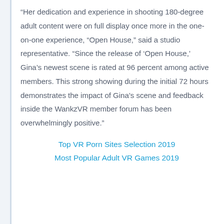“Her dedication and experience in shooting 180-degree adult content were on full display once more in the one-on-one experience, “Open House,” said a studio representative. “Since the release of ‘Open House,’ Gina’s newest scene is rated at 96 percent among active members. This strong showing during the initial 72 hours demonstrates the impact of Gina’s scene and feedback inside the WankzVR member forum has been overwhelmingly positive.”
Top VR Porn Sites Selection 2019
Most Popular Adult VR Games 2019